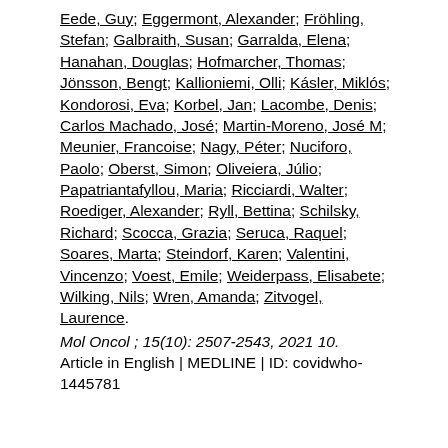Eede, Guy; Eggermont, Alexander; Fröhling, Stefan; Galbraith, Susan; Garralda, Elena; Hanahan, Douglas; Hofmarcher, Thomas; Jönsson, Bengt; Kallioniemi, Olli; Kásler, Miklós; Kondorosi, Eva; Korbel, Jan; Lacombe, Denis; Carlos Machado, José; Martin-Moreno, José M; Meunier, Francoise; Nagy, Péter; Nuciforo, Paolo; Oberst, Simon; Oliveiera, Júlio; Papatriantafyllou, Maria; Ricciardi, Walter; Roediger, Alexander; Ryll, Bettina; Schilsky, Richard; Scocca, Grazia; Seruca, Raquel; Soares, Marta; Steindorf, Karen; Valentini, Vincenzo; Voest, Emile; Weiderpass, Elisabete; Wilking, Nils; Wren, Amanda; Zitvogel, Laurence.
Mol Oncol ; 15(10): 2507-2543, 2021 10.
Article in English | MEDLINE | ID: covidwho-1445781